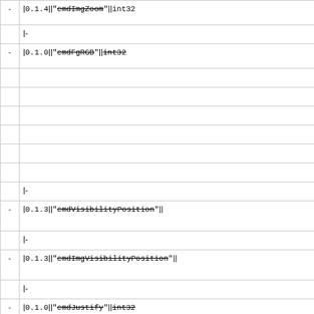| -  | |<code>0.1.4</code>||<code>"cmdImgZoom"</code>||<code>int32...</code> |
|  | |- |
| -  | |<code>0.1.0</code>||<code>"cmdFgRGB"</code>||<code>int32...</code> |
|  | (empty rows) |
|  | |- |
| -  | |<code>0.1.3</code>||<code>"cmdVisibilityPosition"</code>||<code>...</code> |
|  | |- |
| -  | |<code>0.1.3</code>||<code>"cmdImgVisibilityPosition"</code>||<code>...</code> |
|  | |- |
| -  | |<code>0.1.0</code>||<code>"cmdJustify"</code>||<code>int32...</code> |